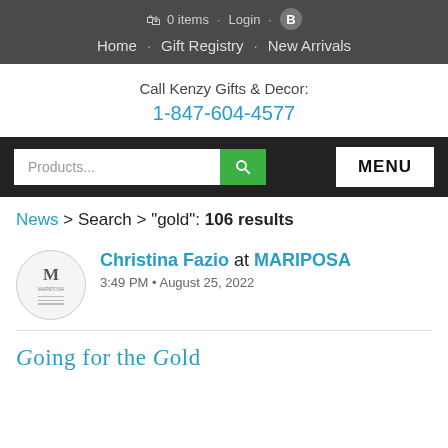0 items · Login · B
Home · Gift Registry · New Arrivals
Call Kenzy Gifts & Decor:
1-847-604-4577
Products... [search] MENU
News > Search > "gold": 106 results
Christina Fazio at MARIPOSA
3:49 PM • August 25, 2022
Going for the Gold